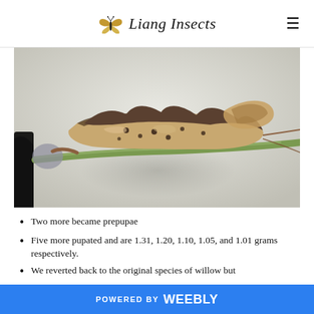Liang Insects
[Figure (photo): Close-up photograph of an insect (caterpillar or prepupa) clinging to a green stem against a light grey background. The insect appears brownish with dark spots and irregular shape, with a blurred shadow visible below.]
Two more became prepupae
Five more pupated and are 1.31, 1.20, 1.10, 1.05, and 1.01 grams respectively.
We reverted back to the original species of willow but
POWERED BY weebly